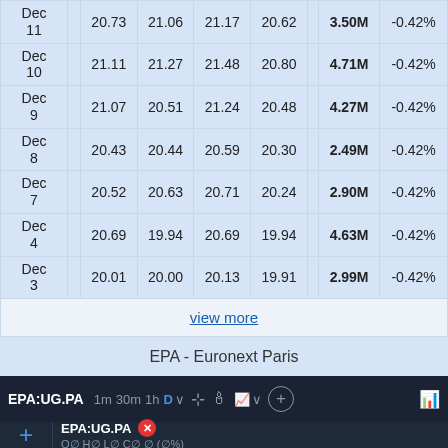| Date |  | Close | Open | High | Low |  | Volume | Change% |
| --- | --- | --- | --- | --- | --- | --- | --- | --- |
| Dec 11 |  | 20.73 | 21.06 | 21.17 | 20.62 |  | 3.50M | -0.42% |
| Dec 10 |  | 21.11 | 21.27 | 21.48 | 20.80 |  | 4.71M | -0.42% |
| Dec 9 |  | 21.07 | 20.51 | 21.24 | 20.48 |  | 4.27M | -0.42% |
| Dec 8 |  | 20.43 | 20.44 | 20.59 | 20.30 |  | 2.49M | -0.42% |
| Dec 7 |  | 20.52 | 20.63 | 20.71 | 20.24 |  | 2.90M | -0.42% |
| Dec 4 |  | 20.69 | 19.94 | 20.69 | 19.94 |  | 4.63M | -0.42% |
| Dec 3 |  | 20.01 | 20.00 | 20.13 | 19.91 |  | 2.99M | -0.42% |
view more
EPA - Euronext Paris
[Figure (screenshot): Trading chart toolbar with EPA:UG.PA ticker, time intervals (1m, 30m, 1h, D), chart type icons, and crosshair/candlestick tools]
EPA:UG.PA  O∅ H∅ L∅ C∅ ∅ (∅%)